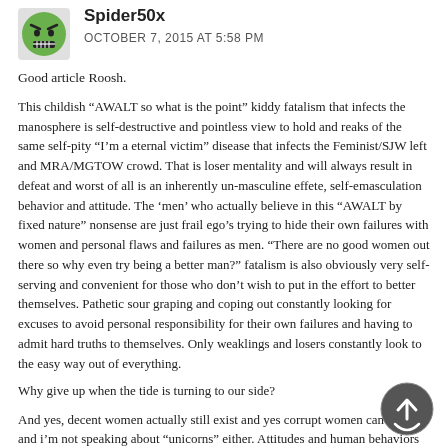[Figure (illustration): Green cartoon angry face avatar/profile picture icon]
Spider50x
OCTOBER 7, 2015 AT 5:58 PM
Good article Roosh.
This childish “AWALT so what is the point” kiddy fatalism that infects the manosphere is self-destructive and pointless view to hold and reaks of the same self-pity “I’m a eternal victim” disease that infects the Feminist/SJW left and MRA/MGTOW crowd. That is loser mentality and will always result in defeat and worst of all is an inherently un-masculine effete, self-emasculation behavior and attitude. The ‘men’ who actually believe in this “AWALT by fixed nature” nonsense are just frail ego’s trying to hide their own failures with women and personal flaws and failures as men. “There are no good women out there so why even try being a better man?” fatalism is also obviously very self-serving and convenient for those who don’t wish to put in the effort to better themselves. Pathetic sour graping and coping out constantly looking for excuses to avoid personal responsibility for their own failures and having to admit hard truths to themselves. Only weaklings and losers constantly look to the easy way out of everything.
Why give up when the tide is turning to our side?
And yes, decent women actually still exist and yes corrupt women can change and i’m not speaking about “unicorns” either. Attitudes and human behaviors aren’t fix or set in stone, aren’t we ourselves proof of this fact? Nobody here was born red pill. This mondana-whore complex that permeates the manosphere is really skewing their perception of women and is causing them to hold unrealistic/impossible exceptions of women. “If she isn’t a perfect angle then she must be a fucking whore!!! But no, no i’m not a better loser at all!”
[Figure (illustration): Back to top circular arrow button icon, dark circle with up arrow]